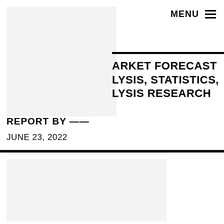[Figure (photo): Top left image placeholder, light gray background]
MENU ≡
ARKET FORECAST LYSIS, STATISTICS, LYSIS RESEARCH
REPORT BY ——
JUNE 23, 2022
[Figure (photo): Bottom image placeholder, light gray background]